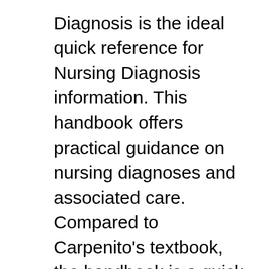Diagnosis is the ideal quick reference for Nursing Diagnosis information. This handbook offers practical guidance on nursing diagnoses and associated care. Compared to Carpenito's textbook, the handbook is a quick-reference type scope of content, easy for students to use while in clinical, in the classroom or simulation lab. From goals to specific Note: If you're looking for a free download links of Nursing Diagnosis Handbook: An Evidence-Based Guide to Planning Care Pdf, epub, docx and torrent then this site is not for you. Ebookphp.com only do ebook promotions online and we does not distribute any free download of ebook on this site.